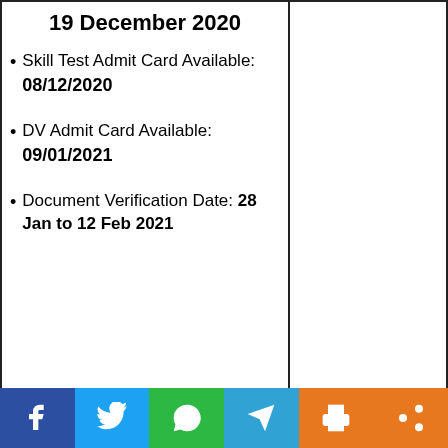19 December 2020
Skill Test Admit Card Available: 08/12/2020
DV Admit Card Available: 09/01/2021
Document Verification Date: 28 Jan to 12 Feb 2021
Tentative Vacancy Details: